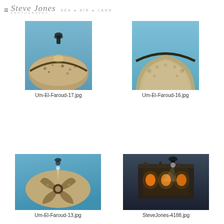Steve Jones Photography · SEA · AIR · LAND
[Figure (photo): Underwater photo of shipwreck Um El Faroud from above, showing curved hull covered in marine growth, diver visible at top]
Um-El-Faroud-17.jpg
[Figure (photo): Underwater photo of shipwreck Um El Faroud from above, similar angle to previous, curved hull with encrusted marine growth on blue water]
Um-El-Faroud-16.jpg
[Figure (photo): Underwater photo of shipwreck Um El Faroud from below/side, large curved propeller visible, blue water background, diver with light visible]
Um-El-Faroud-13.jpg
[Figure (photo): Underwater photo showing shipwreck structure at night/low light, diver with glowing lights illuminating encrusted hull details]
SteveJones-4188.jpg